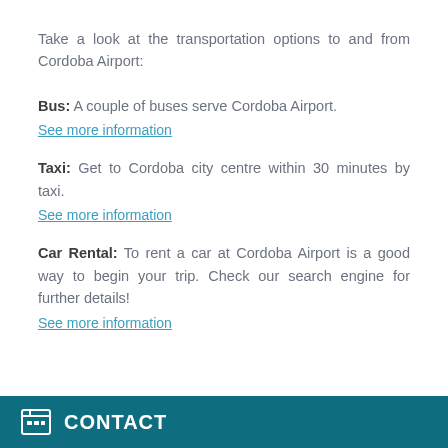Take a look at the transportation options to and from Cordoba Airport:
Bus: A couple of buses serve Cordoba Airport. See more information
Taxi: Get to Cordoba city centre within 30 minutes by taxi. See more information
Car Rental: To rent a car at Cordoba Airport is a good way to begin your trip. Check our search engine for further details! See more information
CONTACT